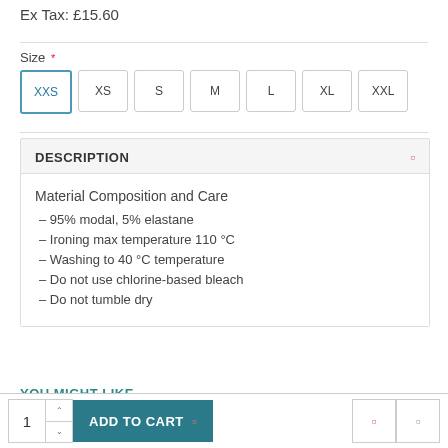Ex Tax: £15.60
Size *
XXS XS S M L XL XXL (size selector buttons)
DESCRIPTION
Material Composition and Care
– 95% modal, 5% elastane
– Ironing max temperature 110 °C
– Washing to 40 °C temperature
– Do not use chlorine-based bleach
– Do not tumble dry
YOU MIGHT LIKE